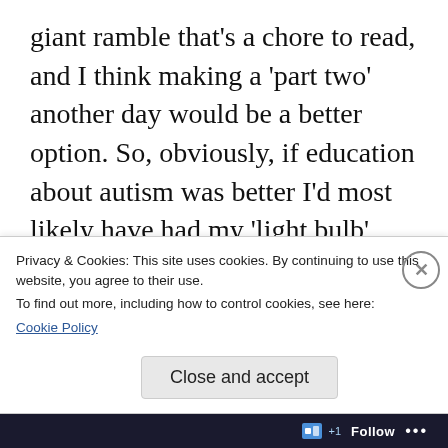giant ramble that's a chore to read, and I think making a 'part two' another day would be a better option. So, obviously, if education about autism was better I'd most likely have had my 'light bulb' moment when I was a lot younger, or maybe somebody else would have realised it for me. Nothing good comes from lack of education, only ignorance, and that ignorance led me to a lot of mental health and self esteem issues. Do I blame myself? No, not at all. I just hope education about autism dramatically
Privacy & Cookies: This site uses cookies. By continuing to use this website, you agree to their use.
To find out more, including how to control cookies, see here:
Cookie Policy
Close and accept
Follow ···